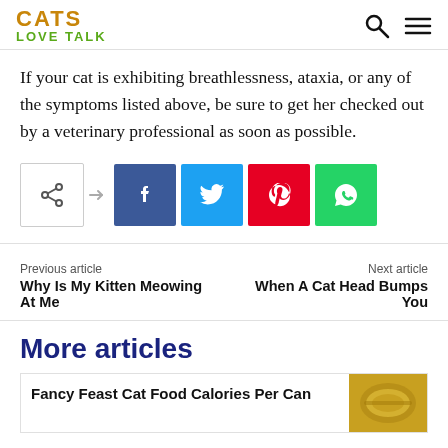CATS LOVE TALK
If your cat is exhibiting breathlessness, ataxia, or any of the symptoms listed above, be sure to get her checked out by a veterinary professional as soon as possible.
[Figure (other): Social share buttons: share icon, Facebook, Twitter, Pinterest, WhatsApp]
Previous article
Why Is My Kitten Meowing At Me
Next article
When A Cat Head Bumps You
More articles
Fancy Feast Cat Food Calories Per Can